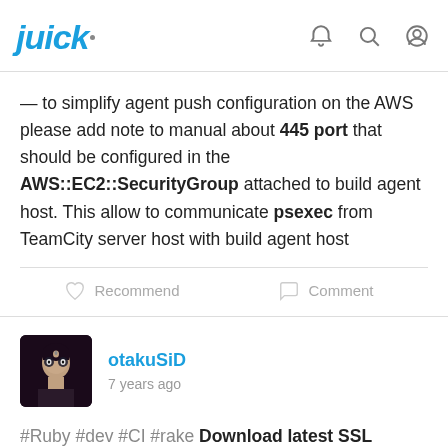juick
— to simplify agent push configuration on the AWS please add note to manual about 445 port that should be configured in the AWS::EC2::SecurityGroup attached to build agent host. This allow to communicate psexec from TeamCity server host with build agent host
Recommend   Comment
otakuSiD
7 years ago
#Ruby #dev #CI #rake Download latest SSL